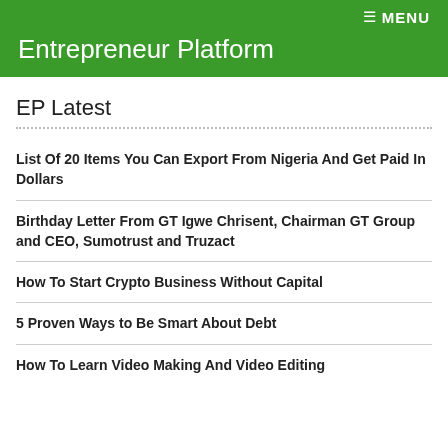≡ MENU
Entrepreneur Platform
EP Latest
List Of 20 Items You Can Export From Nigeria And Get Paid In Dollars
Birthday Letter From GT Igwe Chrisent, Chairman GT Group and CEO, Sumotrust and Truzact
How To Start Crypto Business Without Capital
5 Proven Ways to Be Smart About Debt
How To Learn Video Making And Video Editing